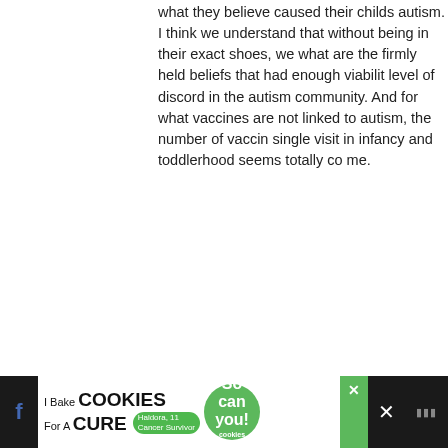what they believe caused their childs autism. I think we understand that without being in their exact shoes, we what are the firmly held beliefs that had enough viability level of discord in the autism community. And for what vaccines are not linked to autism, the number of vaccines single visit in infancy and toddlerhood seems totally co me.
> Reply
Heather says:
FEBRUARY 7TH, 2010 AT 9:57 AM

That's a really good point. Honestly, the tactics employed of the debate are pretty reprehensible.

Thanks for making it!

> Reply
Joy says:
FEBRUARY 7TH, 2010 AT 10:17 AM
[Figure (screenshot): Ad banner: I Bake COOKIES For A CURE - Haldora, 11 Cancer Survivor - So can you! - cookies for kids cancer]